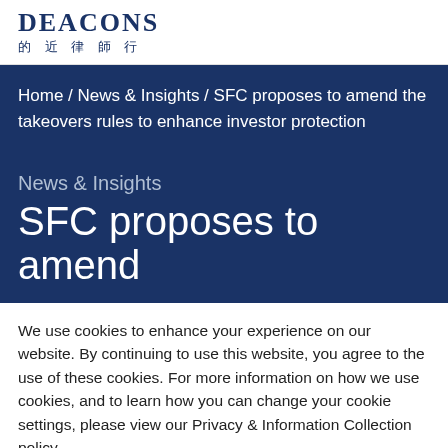DEACONS 的 近 律 師 行
Home / News & Insights / SFC proposes to amend the takeovers rules to enhance investor protection
News & Insights
SFC proposes to amend
We use cookies to enhance your experience on our website. By continuing to use this website, you agree to the use of these cookies. For more information on how we use cookies, and to learn how you can change your cookie settings, please view our Privacy & Information Collection policy.
Close